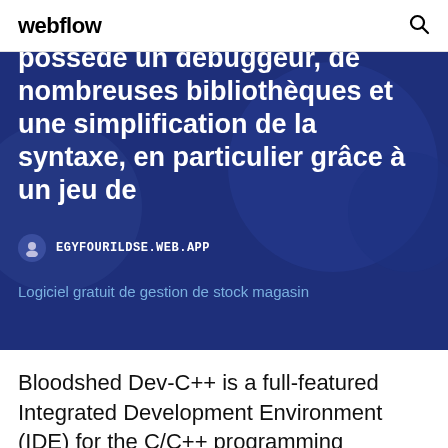webflow
[Figure (screenshot): Dark blue hero banner with French text about a debugger, libraries and syntax simplification, with a site badge showing EGYFOURILDSE.WEB.APP and a link 'Logiciel gratuit de gestion de stock magasin']
Bloodshed Dev-C++ is a full-featured Integrated Development Environment (IDE) for the C/C++ programming